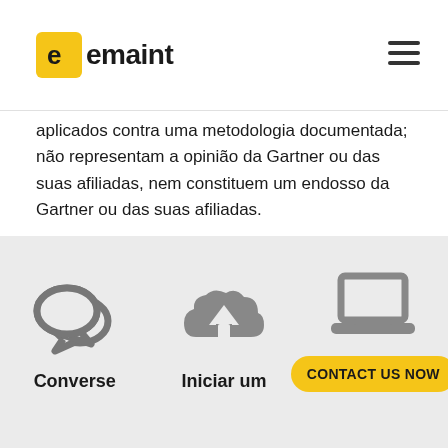emaint
aplicados contra uma metodologia documentada; não representam a opinião da Gartner ou das suas afiliadas, nem constituem um endosso da Gartner ou das suas afiliadas.
[Figure (illustration): Three icons in a light gray section: speech bubbles (Converse), cloud upload (Iniciar um), and laptop. A yellow rounded button labeled CONTACT US NOW is at the bottom right.]